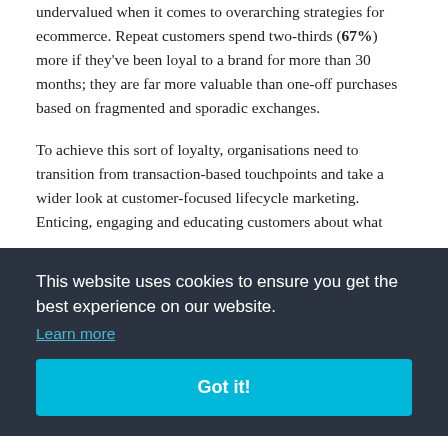undervalued when it comes to overarching strategies for ecommerce. Repeat customers spend two-thirds (67%) more if they've been loyal to a brand for more than 30 months; they are far more valuable than one-off purchases based on fragmented and sporadic exchanges.
To achieve this sort of loyalty, organisations need to transition from transaction-based touchpoints and take a wider look at customer-focused lifecycle marketing. Enticing, engaging and educating customers about what [partially obscured text] of the [partially obscured] ge; [partially obscured] inspiring them [partially obscured] to them.
This lifecycle marketing approach should be seen as the [partially obscured] an a [partially obscured] and a switch from team ownership (sales, marketing...
[Figure (screenshot): Cookie consent overlay with dark background (#2b3240). Text reads 'This website uses cookies to ensure you get the best experience on our website.' with a 'Learn more' link in blue. Below is a large cyan/turquoise 'Got it!' button.]